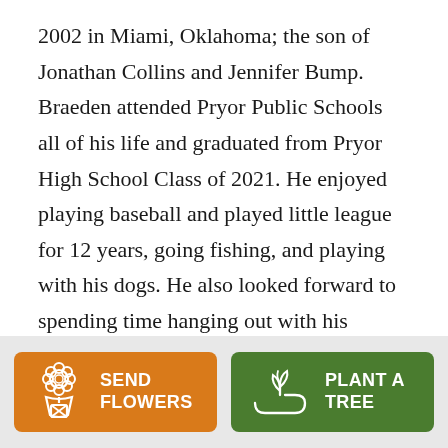2002 in Miami, Oklahoma; the son of Jonathan Collins and Jennifer Bump. Braeden attended Pryor Public Schools all of his life and graduated from Pryor High School Class of 2021. He enjoyed playing baseball and played little league for 12 years, going fishing, and playing with his dogs. He also looked forward to spending time hanging out with his friends.  He loved the outdoors, especially when he was going to the creek and camping. Braeden loved life and always put a smile on the faces around him. He leaves this world much to soon and will be missed by all who knew and
[Figure (infographic): Two call-to-action buttons at the bottom of the page on a light gray background. Left button is orange with a flower bouquet icon and text 'SEND FLOWERS'. Right button is green with a plant/hand icon and text 'PLANT A TREE'.]